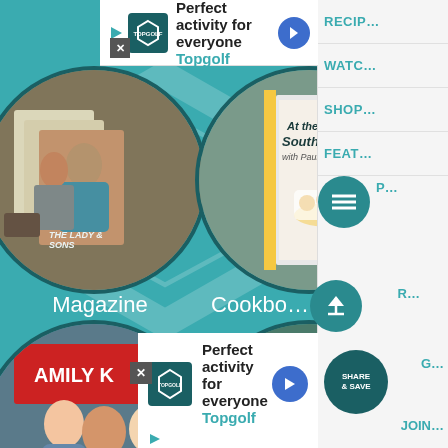[Figure (screenshot): Website screenshot showing a food/cooking website with circular image frames for Magazine and Cookbook sections, overlaid with Topgolf advertisements, and a right sidebar with navigation links (RECIPES, WATCH, SHOP, FEATURES). Floating action buttons visible including menu, scroll-to-top, SHARE & SAVE, and JOIN buttons.]
Perfect activity for everyone
Topgolf
Magazine
Cookbo...
RECIP...
WATC...
SHOP...
FEAT...
P...
R...
G...
JOIN...
Perfect activity for everyone
Topgolf
SHARE & SAVE